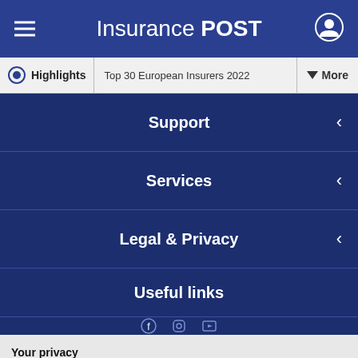Insurance POST
Highlights | Top 30 European Insurers 2022 | More
Support
Services
Legal & Privacy
Useful links
Your privacy
We use cookies for a number of reasons such as keeping our sites reliable and secure, personalising content and ads, and to analyse how our sites are used. To find out more please read our updated privacy policy.
ACCEPT AND CONTINUE